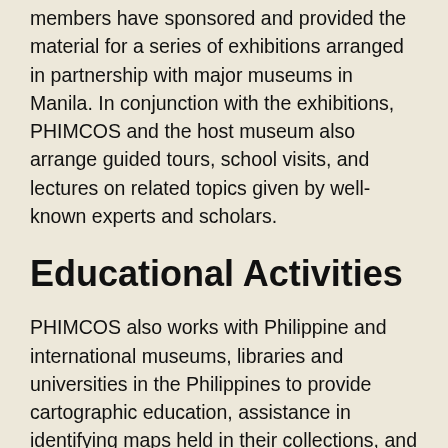members have sponsored and provided the material for a series of exhibitions arranged in partnership with major museums in Manila. In conjunction with the exhibitions, PHIMCOS and the host museum also arrange guided tours, school visits, and lectures on related topics given by well-known experts and scholars.
Educational Activities
PHIMCOS also works with Philippine and international museums, libraries and universities in the Philippines to provide cartographic education, assistance in identifying maps held in their collections, and advice on the restoration and archival storage of antique maps and prints. PHIMCOS also corresponds with and/or arranges visits to local and international institutions.
An activity about which PHIMCOS is particularly proud